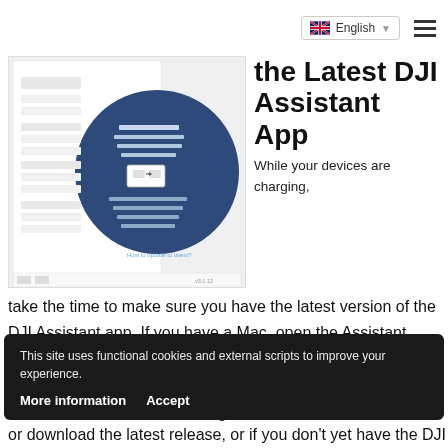English
[Figure (screenshot): Screenshot of DJI Assistant app interface showing a circular dark blue UI element with device connection diagram on a light background]
the Latest DJI Assistant App
While your devices are charging, take the time to make sure you have the latest version of the DJI Assistant app. If you have a Mac, open the Assistant app. For those of you using Windows, open the DJI Assistant 2 app. Both the Mac and Windows applications will show the version number in the lower right-hand corner of the screen.
This site uses functional cookies and external scripts to improve your experience.
More information
Accept
or download the latest release, or if you don't yet have the DJI